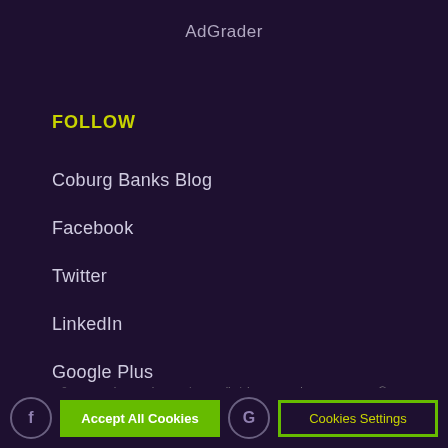AdGrader
FOLLOW
Coburg Banks Blog
Facebook
Twitter
LinkedIn
Google Plus
By clicking “Accept All Cookies”, you agree to the storing of cookies on your device to enhance site navigation, analyze site usage, and assist in our marketing efforts.
© 2019 – Coburg Banks Recruitment. All Rights Reserved. SYSTEMS, GO.